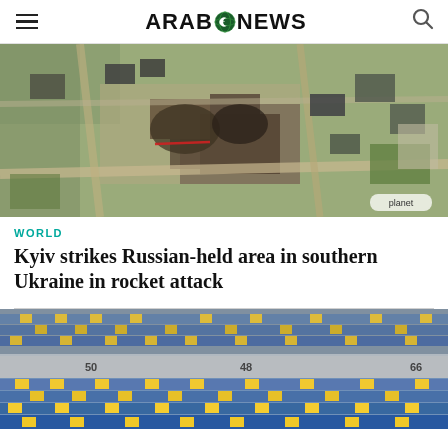ARAB NEWS
[Figure (photo): Satellite aerial view of destroyed/damaged buildings and infrastructure in a Ukrainian city, showing rubble and burned areas. Planet watermark visible in bottom right.]
WORLD
Kyiv strikes Russian-held area in southern Ukraine in rocket attack
[Figure (photo): Interior of a stadium showing blue and yellow seats/stands with section numbers 50, 48, 66 visible.]